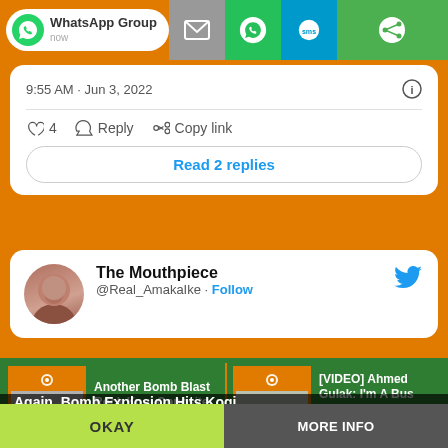[Figure (screenshot): Share bar at top with WhatsApp Group button, email icon, WhatsApp icon, SMS icon, and another share icon]
9:55 AM · Jun 3, 2022
4   Reply   Copy link
Read 2 replies
The Mouthpiece @Real_AmakaIke · Follow
Another Bomb Blast Rock Kogi Opposite Police Station
[VIDEO] Ahmed Gulak: I'm A Bus Driver, Unknown Gunmen...
This website uses cookies
Again, Bomb Explosion Hits Kogi Killed Several Injured
OKAY
MORE INFO